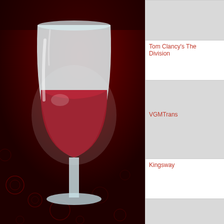[Figure (illustration): Wine logo - a white wine glass against a dark red background with decorative dot pattern]
| Name | ID | Description |
| --- | --- | --- |
| (partial row - name cut off) | (id cut off) | Paint Adv... webcomic... |
| Tom Clancy's The Division | 18465 | Post-apoc... shooter g... |
| VGMTrans | 18469 | VGMTrans music file... console v... into stand... dls/sf2 file... these files... |
| Kingsway | 18477 | An RPG w... interface ... operating... |
| (partial - name cut off) | (id cut off) | Heat Sign... game whe... board ene... spaceship... complete ... across a ... generated... can use a... |